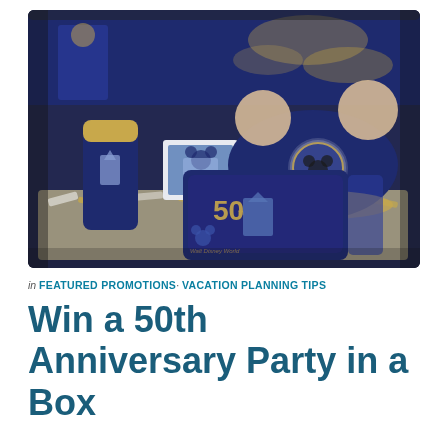[Figure (photo): Photo of a Walt Disney World 50th Anniversary gift box opened to reveal merchandise including a navy blue tumbler with gold Cinderella Castle design, a Mickey Mouse ear hat in navy and gold with a Mickey patch, a navy crossbody bag with 50th anniversary Cinderella Castle and Mickey Mouse artwork, a photo card inside, all nestled in gold and white crinkle paper within a navy blue gift box.]
in FEATURED PROMOTIONS· VACATION PLANNING TIPS
Win a 50th Anniversary Party in a Box